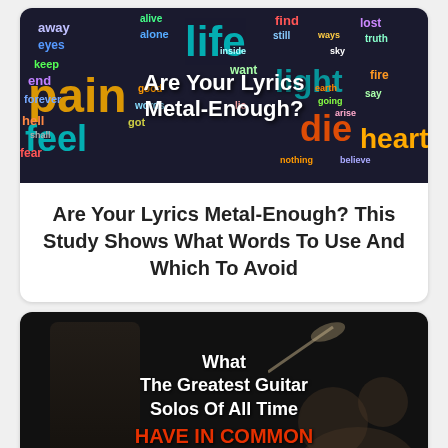[Figure (illustration): Word cloud image with dark background containing various colorful music/metal-related words (life, feel, die, heart, pain, fire, etc.) with bold white overlay text reading 'Are Your Lyrics Metal-Enough?']
Are Your Lyrics Metal-Enough? This Study Shows What Words To Use And Which To Avoid
[Figure (photo): Dark moody photo of a guitarist silhouette with drum kit in background. White and red bold text overlaid: 'What The Greatest Guitar Solos Of All Time HAVE IN COMMON']